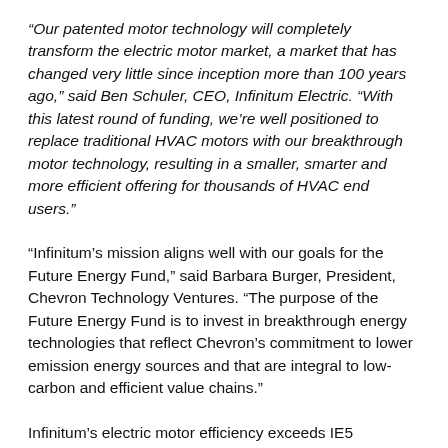“Our patented motor technology will completely transform the electric motor market, a market that has changed very little since inception more than 100 years ago,” said Ben Schuler, CEO, Infinitum Electric. “With this latest round of funding, we’re well positioned to replace traditional HVAC motors with our breakthrough motor technology, resulting in a smaller, smarter and more efficient offering for thousands of HVAC end users.”
“Infinitum’s mission aligns well with our goals for the Future Energy Fund,” said Barbara Burger, President, Chevron Technology Ventures. “The purpose of the Future Energy Fund is to invest in breakthrough energy technologies that reflect Chevron’s commitment to lower emission energy sources and that are integral to low-carbon and efficient value chains.”
Infinitum’s electric motor efficiency exceeds IE5 efficiency, and can additionally be deployed as a variable-speed drive-based solution.